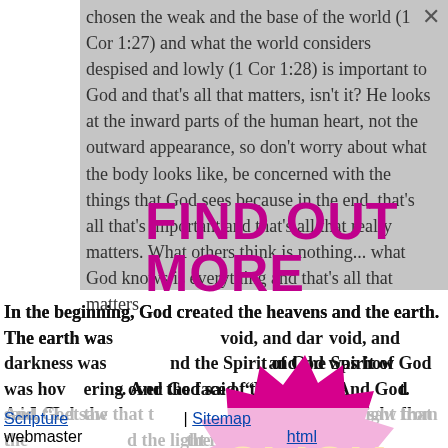chosen the weak and the base of the world (1 Cor 1:27) and what the world considers despised and lowly (1 Cor 1:28) is important to God and that's all that matters, isn't it? He looks at the inward parts of the human heart, not the outward appearance, so don't worry about what the body looks like, be concerned with the things that God sees because in the end, that's all that's important and that's all that really matters. What others think is nothing... what God knows is everything and that's all that matters.
[Figure (infographic): FIND OUT MORE banner text in bold magenta/purple uppercase letters on grey background overlay]
In the beginning, God created the heavens and the earth. The earth was without form and void, and darkness was over the face of the deep, and the Spirit of God was hovering over the face of the waters. And God said, "Let there be light," and there was light. And God saw that the light was good. And God separated the light from the darkness. God called the light Day, and the darkness he called Night. And there was evening and there was morning, the first day.
[Figure (infographic): CLICK HERE badge in orange bold text on magenta/pink spiky burst/gear shape]
| Sitemap html